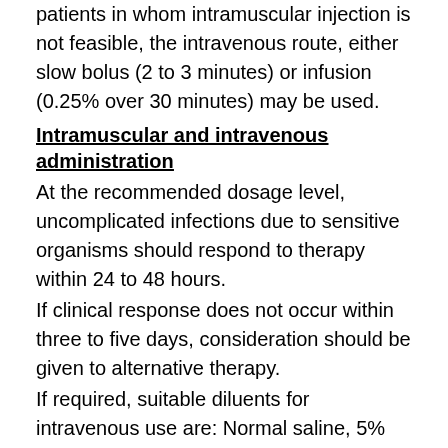patients in whom intramuscular injection is not feasible, the intravenous route, either slow bolus (2 to 3 minutes) or infusion (0.25% over 30 minutes) may be used.
Intramuscular and intravenous administration
At the recommended dosage level, uncomplicated infections due to sensitive organisms should respond to therapy within 24 to 48 hours.
If clinical response does not occur within three to five days, consideration should be given to alternative therapy.
If required, suitable diluents for intravenous use are: Normal saline, 5% dextrose in water. Once the product has been diluted the solution must be used as soon as possible and NOT STORED.
Adults and Children over 12 years